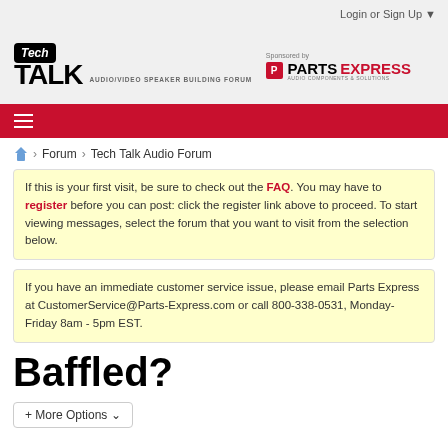Login or Sign Up ▼
[Figure (logo): Tech Talk Audio/Video Speaker Building Forum logo, sponsored by Parts Express]
≡
🏠 › Forum › Tech Talk Audio Forum
If this is your first visit, be sure to check out the FAQ. You may have to register before you can post: click the register link above to proceed. To start viewing messages, select the forum that you want to visit from the selection below.
If you have an immediate customer service issue, please email Parts Express at CustomerService@Parts-Express.com or call 800-338-0531, Monday-Friday 8am - 5pm EST.
Baffled?
+ More Options ∨